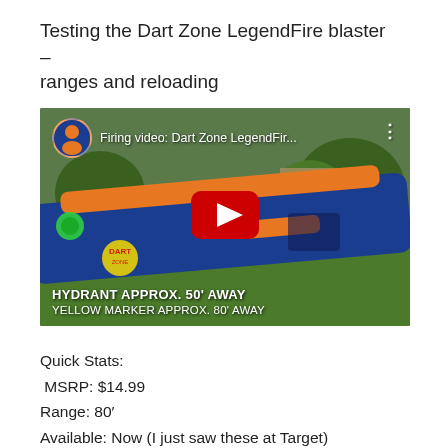Testing the Dart Zone LegendFire blaster – ranges and reloading
[Figure (screenshot): YouTube video thumbnail showing a blue and orange Dart Zone LegendFire blaster in an outdoor setting with grass and trees. Title overlay reads 'Firing video: Dart Zone LegendFir...' with a red YouTube play button in the center. Bottom text: 'HYDRANT APPROX. 50' AWAY' and 'YELLOW MARKER APPROX. 80' AWAY'.]
Quick Stats:
 MSRP: $14.99
Range: 80'
Available: Now (I just saw these at Target)